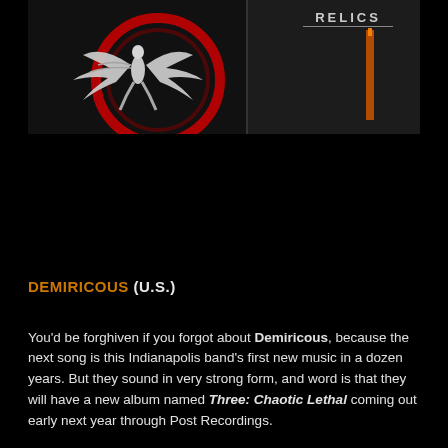[Figure (photo): Album artwork collage showing two images side by side: left image shows a white skeletal/creature figure with outstretched wings against a dark background with red circular design; right image shows text 'RELICS' with an orange vertical bar/torch element on dark background]
DEMIRICOUS (U.S.)
You'd be forghiven if you forgot about Demiricous, because the next song is this Indianapolis band's first new music in a dozen years. But they sound in very strong form, and word is that they will have a new album named Three: Chaotic Lethal coming out early next year through Post Recordings.